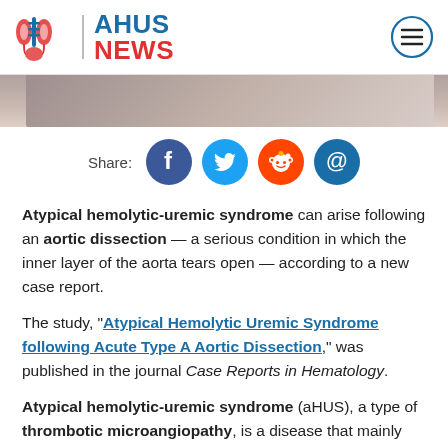AHUS NEWS
[Figure (photo): Partial photo strip showing a blurred background image, cropped at the top of the article]
Share:
Atypical hemolytic-uremic syndrome can arise following an aortic dissection — a serious condition in which the inner layer of the aorta tears open — according to a new case report.
The study, "Atypical Hemolytic Uremic Syndrome following Acute Type A Aortic Dissection," was published in the journal Case Reports in Hematology.
Atypical hemolytic-uremic syndrome (aHUS), a type of thrombotic microangiopathy, is a disease that mainly affects the kidneys. This condition,